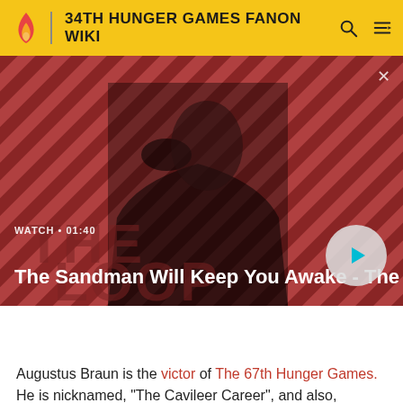34TH HUNGER GAMES FANON WIKI
[Figure (screenshot): Video thumbnail: man in dark cloak with a raven on shoulder, against red and dark diagonal striped background. Title overlay: 'The Sandman Will Keep You Awake - The Loop'. Watch label: 'WATCH • 01:40'. Play button on right.]
| PORTRAYED BY |  |
| --- | --- |
| PORTRAYED BY | Attila Toth |
Augustus Braun is the victor of The 67th Hunger Games. He is nicknamed, "The Cavileer Career", and also, "Panem's